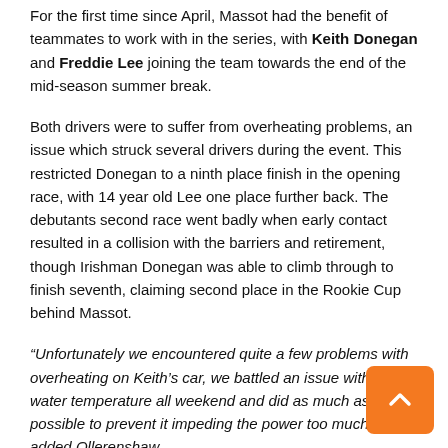For the first time since April, Massot had the benefit of teammates to work with in the series, with Keith Donegan and Freddie Lee joining the team towards the end of the mid-season summer break.
Both drivers were to suffer from overheating problems, an issue which struck several drivers during the event. This restricted Donegan to a ninth place finish in the opening race, with 14 year old Lee one place further back. The debutants second race went badly when early contact resulted in a collision with the barriers and retirement, though Irishman Donegan was able to climb through to finish seventh, claiming second place in the Rookie Cup behind Massot.
“Unfortunately we encountered quite a few problems with overheating on Keith’s car, we battled an issue with the water temperature all weekend and did as much as possible to prevent it impeding the power too much”, added Ollerenshaw